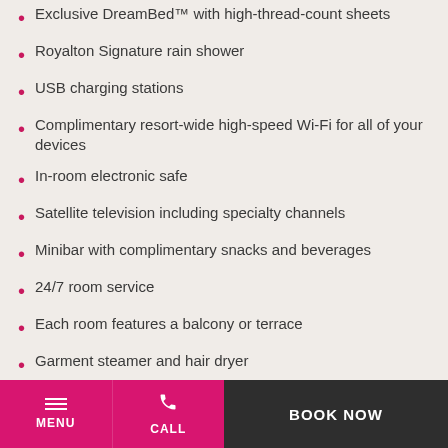Exclusive DreamBed™ with high-thread-count sheets
Royalton Signature rain shower
USB charging stations
Complimentary resort-wide high-speed Wi-Fi for all of your devices
In-room electronic safe
Satellite television including specialty channels
Minibar with complimentary snacks and beverages
24/7 room service
Each room features a balcony or terrace
Garment steamer and hair dryer
Iron and ironing board
MENU  CALL  BOOK NOW